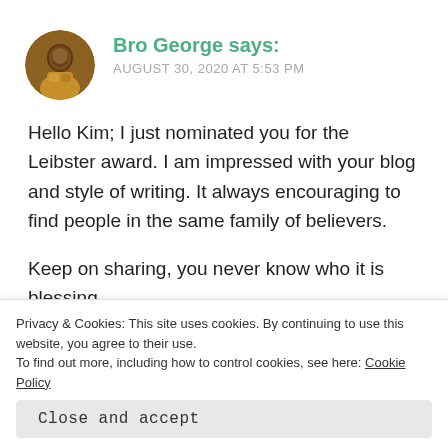[Figure (photo): Circular avatar photo of Bro George, a man wearing a yellow/orange patterned shirt]
Bro George says:
AUGUST 30, 2020 AT 5:53 PM
Hello Kim; I just nominated you for the Leibster award. I am impressed with your blog and style of writing. It always encouraging to find people in the same family of believers.

Keep on sharing, you never know who it is blessing.
Privacy & Cookies: This site uses cookies. By continuing to use this website, you agree to their use.
To find out more, including how to control cookies, see here: Cookie Policy
Close and accept